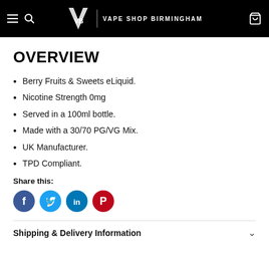VAPE SHOP BIRMINGHAM
OVERVIEW
Berry Fruits & Sweets eLiquid.
Nicotine Strength 0mg
Served in a 100ml bottle.
Made with a 30/70 PG/VG Mix.
UK Manufacturer.
TPD Compliant.
Share this:
Shipping & Delivery Information